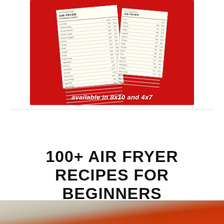[Figure (illustration): Red background promotional image showing two air fryer cooking charts (one large 8x10, one small 4x7) with text 'available in 8x10 and 4x7' at the bottom in white italic bold font.]
100+ AIR FRYER RECIPES FOR BEGINNERS
[Figure (photo): Partial photo at bottom of page showing food items, appears to be vegetables or air-fried food on a light background.]